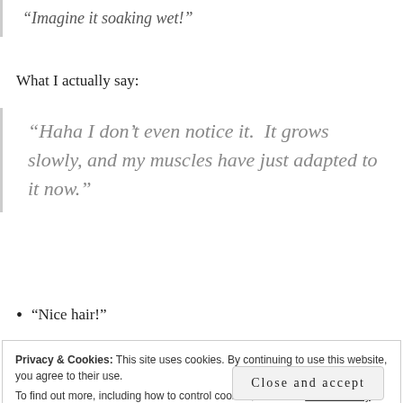“Imagine it soaking wet!”
What I actually say:
“Haha I don’t even notice it.  It grows slowly, and my muscles have just adapted to it now.”
“Nice hair!”
Privacy & Cookies: This site uses cookies. By continuing to use this website, you agree to their use.
To find out more, including how to control cookies, see here: Cookie Policy
Close and accept